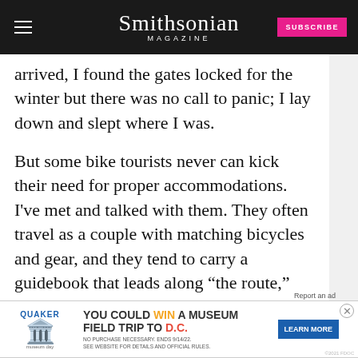Smithsonian MAGAZINE
arrived, I found the gates locked for the winter but there was no call to panic; I lay down and slept where I was.
But some bike tourists never can kick their need for proper accommodations. I've met and talked with them. They often travel as a couple with matching bicycles and gear, and they tend to carry a guidebook that leads along “the route,” whether it’s the Camino de Santiago or the popular coastal California route, or the Mediterranean roads, research by Internet to locate